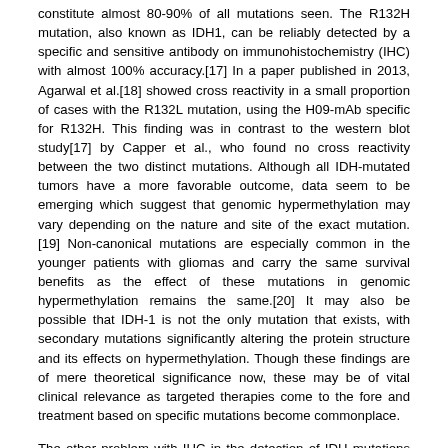constitute almost 80-90% of all mutations seen. The R132H mutation, also known as IDH1, can be reliably detected by a specific and sensitive antibody on immunohistochemistry (IHC) with almost 100% accuracy.[17] In a paper published in 2013, Agarwal et al.[18] showed cross reactivity in a small proportion of cases with the R132L mutation, using the H09-mAb specific for R132H. This finding was in contrast to the western blot study[17] by Capper et al., who found no cross reactivity between the two distinct mutations. Although all IDH-mutated tumors have a more favorable outcome, data seem to be emerging which suggest that genomic hypermethylation may vary depending on the nature and site of the exact mutation.[19] Non-canonical mutations are especially common in the younger patients with gliomas and carry the same survival benefits as the effect of these mutations in genomic hypermethylation remains the same.[20] It may also be possible that IDH-1 is not the only mutation that exists, with secondary mutations significantly altering the protein structure and its effects on hypermethylation. Though these findings are of mere theoretical significance now, these may be of vital clinical relevance as targeted therapies come to the fore and treatment based on specific mutations become commonplace.
The other problem with IHC in the detection of IDH mutations remains the variability in terms of strength and distribution. Nearly 50% of the tumors in the study mentioned earlier had marked heterogeneity in terms of the taking up the stain. There were also marked differences in the pattern of staining that were dependent on the type of the cell in question: astrocytic tumors highlighted the unipolar and bipolar astrocytic processes, gemistocytes had peripheral accentuation with a central halo, whereas oligodendrogliomas showed strong staining of the cytoplasm. In addition, nuclear staining with the